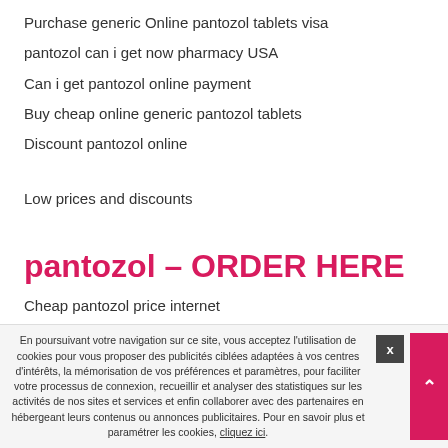Purchase generic Online pantozol tablets visa
pantozol can i get now pharmacy USA
Can i get pantozol online payment
Buy cheap online generic pantozol tablets
Discount pantozol online
Low prices and discounts
pantozol – ORDER HERE
Cheap pantozol price internet
Generic pantozol purchase now online pharmacy Australia
En poursuivant votre navigation sur ce site, vous acceptez l'utilisation de cookies pour vous proposer des publicités ciblées adaptées à vos centres d'intérêts, la mémorisation de vos préférences et paramètres, pour faciliter votre processus de connexion, recueillir et analyser des statistiques sur les activités de nos sites et services et enfin collaborer avec des partenaires en hébergeant leurs contenus ou annonces publicitaires. Pour en savoir plus et paramétrer les cookies, cliquez ici.